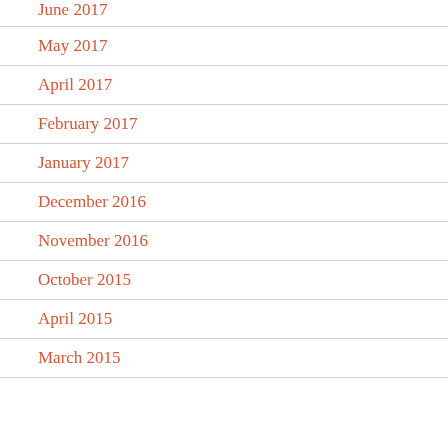June 2017
May 2017
April 2017
February 2017
January 2017
December 2016
November 2016
October 2015
April 2015
March 2015